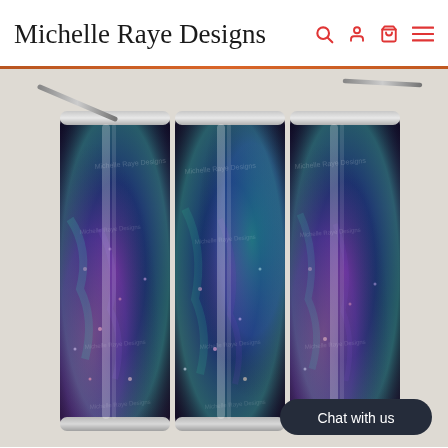Michelle Raye Designs
[Figure (photo): Product photo showing three slim dark tumblers with iridescent galaxy/abalone shell pattern design in purple, blue, teal and pink hues, with metal straws, displayed against a light gray background. Watermark text 'Michelle Raye Designs' repeated across image. A 'Chat with us' button overlay in dark rounded rectangle at bottom right.]